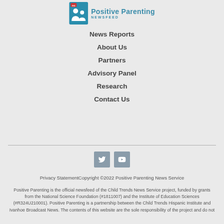[Figure (logo): Positive Parenting Newsfeed logo with icon of two figures and teal text]
News Reports
About Us
Partners
Advisory Panel
Research
Contact Us
[Figure (illustration): Twitter and YouTube social media icon buttons in grey-blue squares]
Privacy StatementCopyright ©2022 Positive Parenting News Service
Positive Parenting is the official newsfeed of the Child Trends News Service project, funded by grants from the National Science Foundation (#1811007) and the Institute of Education Sciences (#R324U210001). Positive Parenting is a partnership between the Child Trends Hispanic Institute and Ivanhoe Broadcast News. The contents of this website are the sole responsibility of the project and do not